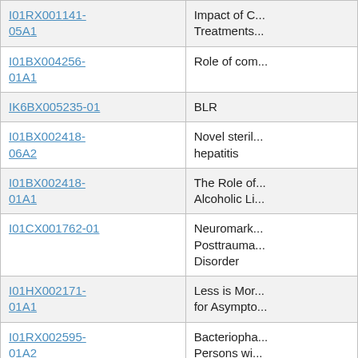| Award ID | Title |
| --- | --- |
| I01RX001141-05A1 | Impact of C... Treatments... |
| I01BX004256-01A1 | Role of com... |
| IK6BX005235-01 | BLR |
| I01BX002418-06A2 | Novel steril... hepatitis |
| I01BX002418-01A1 | The Role of... Alcoholic Li... |
| I01CX001762-01 | Neuromark... Posttrauma... Disorder |
| I01HX002171-01A1 | Less is Mor... for Asympto... |
| I01RX002595-01A2 | Bacteriopha... Persons wi... |
| IK2RX003069-01A2 | Improving t... Chronic Pa... Illness |
| I01CX001904- | Validation o... |